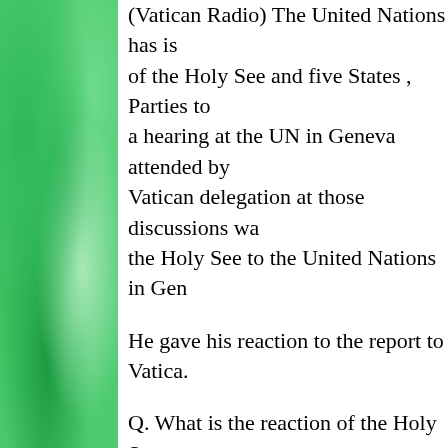(Vatican Radio) The United Nations has issued a report of the Holy See and five States , Parties to ... a hearing at the UN in Geneva attended by ... Vatican delegation at those discussions wa... the Holy See to the United Nations in Gen...
He gave his reaction to the report to Vatica...
Q. What is the reaction of the Holy See to ... report?
The report in the concluding recommenda... Right of the Child that were released toda... Holy See has been doing and has already ... first impression is that the report in some ...